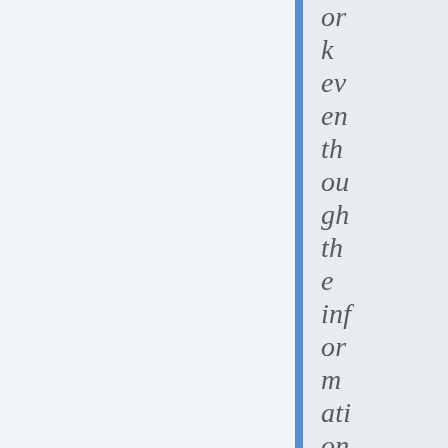or k ev en th ou gh th e inf or m ati on w as no t m